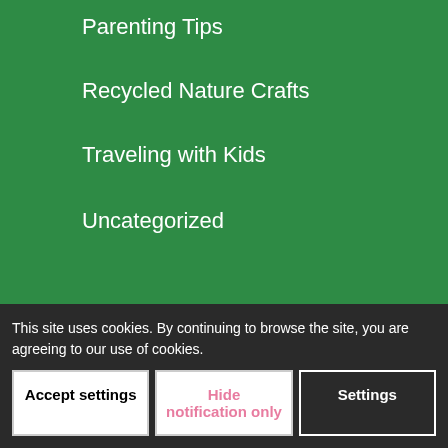Parenting Tips
Recycled Nature Crafts
Traveling with Kids
Uncategorized
Archive
March 2017
February 2017
April 2016
March 2016
September 2015
August 2015
July 2015
June 2015
This site uses cookies. By continuing to browse the site, you are agreeing to our use of cookies.